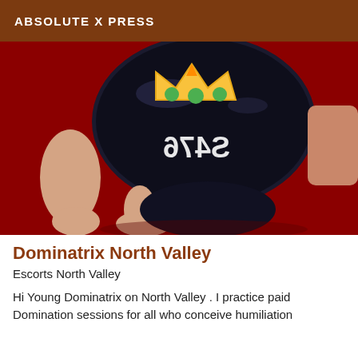ABSOLUTE X PRESS
[Figure (photo): Photo showing a person kneeling on a red carpet wearing a dark latex outfit with a crown emoji sticker and mirrored text visible]
Dominatrix North Valley
Escorts North Valley
Hi Young Dominatrix on North Valley . I practice paid Domination sessions for all who conceive humiliation